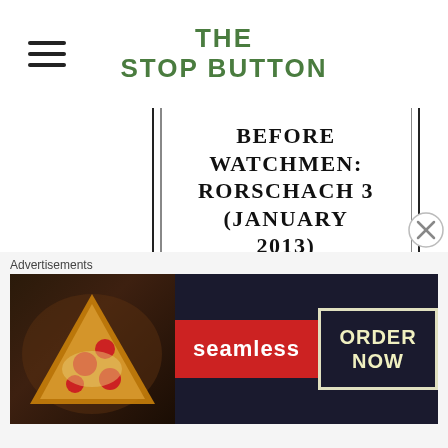THE STOP BUTTON
BEFORE WATCHMEN: RORSCHACH 3 (JANUARY 2013)
Travis Bickle guest stars in this issue. Azzarello's deep, man, he's really deep. He also sets up Rorschach's girlfriend to get killed, which will undoubtedly explain why he loses himself completely in the mask. The Before Watchmen editors clearly
Advertisements
[Figure (advertisement): Seamless food delivery advertisement with pizza image, Seamless logo in red, and ORDER NOW button]